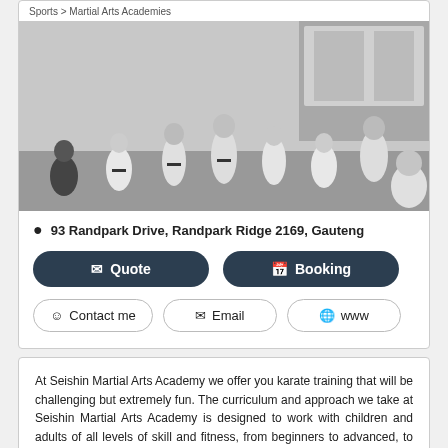Sports > Martial Arts Academies
[Figure (photo): Black and white photo of children in white karate uniforms practicing martial arts in a dojo]
93 Randpark Drive, Randpark Ridge 2169, Gauteng
Quote
Booking
Contact me
Email
www
At Seishin Martial Arts Academy we offer you karate training that will be challenging but extremely fun. The curriculum and approach we take at Seishin Martial Arts Academy is designed to work with children and adults of all levels of skill and fitness, from beginners to advanced, to bring out the best in each and every person. We offer Goju Ryu Karate-Do, Sports Conditioning and Youth Development and Training to combat issues and challenges such as: 1. Balance, Eye & Hand Coordination